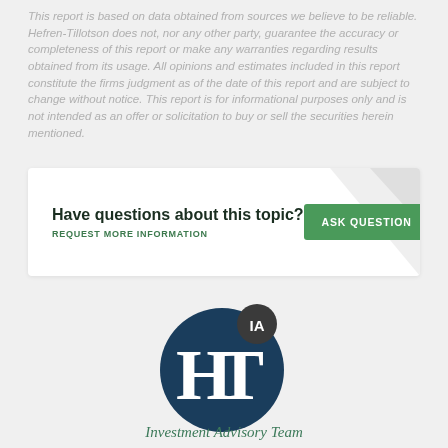This report is based on data obtained from sources we believe to be reliable. Hefren-Tillotson does not, nor any other party, guarantee the accuracy or completeness of this report or make any warranties regarding results obtained from its usage. All opinions and estimates included in this report constitute the firms judgment as of the date of this report and are subject to change without notice. This report is for informational purposes only and is not intended as an offer or solicitation to buy or sell the securities herein mentioned.
Have questions about this topic? REQUEST MORE INFORMATION | ASK QUESTION
[Figure (logo): Hefren-Tillotson Investment Advisory Team logo: dark teal circle with white HT monogram and a dark grey circle badge with 'IA' text]
Investment Advisory Team